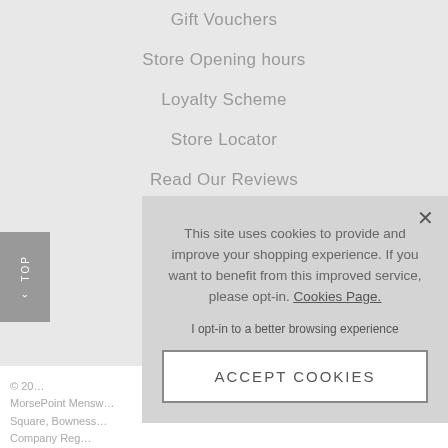Gift Vouchers
Store Opening hours
Loyalty Scheme
Store Locator
Read Our Reviews
© 20... MorsePoint Mensw... Square, Bowness... Company Reg...
This site uses cookies to provide and improve your shopping experience. If you want to benefit from this improved service, please opt-in. Cookies Page.
I opt-in to a better browsing experience
ACCEPT COOKIES